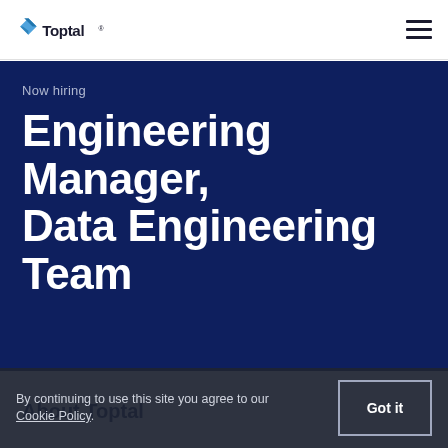Toptal
Now hiring
Engineering Manager, Data Engineering Team
About Toptal
By continuing to use this site you agree to our Cookie Policy.